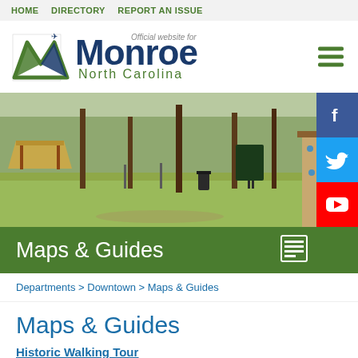HOME   DIRECTORY   REPORT AN ISSUE
[Figure (logo): Monroe North Carolina official city logo with stylized M and airplane icon]
[Figure (photo): Park photo showing playground equipment, pavilion, trees, and green lawn with a climbing structure on the right]
Maps & Guides
Departments > Downtown > Maps & Guides
Maps & Guides
Historic Walking Tour
Although a few significant buildings have been demolished